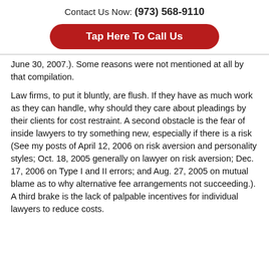Contact Us Now: (973) 568-9110
Tap Here To Call Us
June 30, 2007.). Some reasons were not mentioned at all by that compilation.
Law firms, to put it bluntly, are flush. If they have as much work as they can handle, why should they care about pleadings by their clients for cost restraint. A second obstacle is the fear of inside lawyers to try something new, especially if there is a risk (See my posts of April 12, 2006 on risk aversion and personality styles; Oct. 18, 2005 generally on lawyer on risk aversion; Dec. 17, 2006 on Type I and II errors; and Aug. 27, 2005 on mutual blame as to why alternative fee arrangements not succeeding.). A third brake is the lack of palpable incentives for individual lawyers to reduce costs.